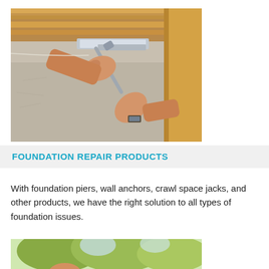[Figure (photo): Person's hands using a wrench to tighten a bolt on a metal support beam mounted beneath wooden floor joists and concrete wall — foundation repair work in a crawl space.]
FOUNDATION REPAIR PRODUCTS
With foundation piers, wall anchors, crawl space jacks, and other products, we have the right solution to all types of foundation issues.
[Figure (photo): Partial view of a person outdoors with green trees visible in the background — bottom portion of image cropped.]